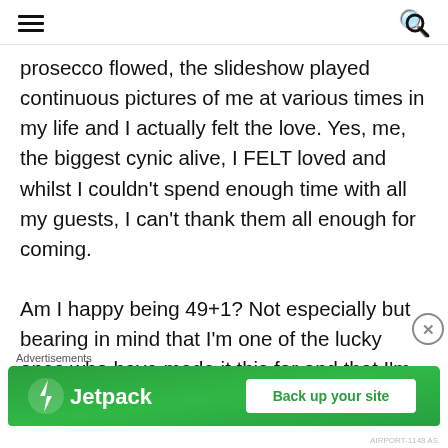[hamburger menu] [search icon]
prosecco flowed, the slideshow played continuous pictures of me at various times in my life and I actually felt the love. Yes, me, the biggest cynic alive, I FELT loved and whilst I couldn't spend enough time with all my guests, I can't thank them all enough for coming.

Am I happy being 49+1? Not especially but bearing in mind that I'm one of the lucky ones who have made it this far and that I'm hoping to
Advertisements
[Figure (other): Jetpack advertisement banner: green background with Jetpack logo and 'Back up your site' button]